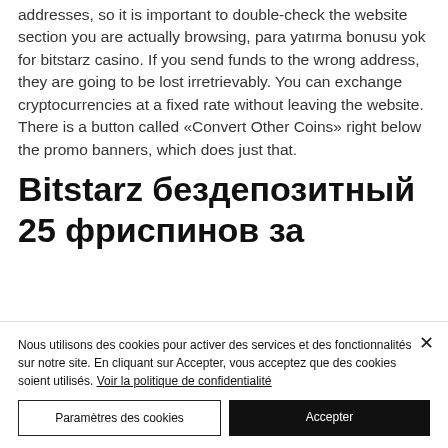addresses, so it is important to double-check the website section you are actually browsing, para yatırma bonusu yok for bitstarz casino. If you send funds to the wrong address, they are going to be lost irretrievably. You can exchange cryptocurrencies at a fixed rate without leaving the website. There is a button called «Convert Other Coins» right below the promo banners, which does just that.
Bitstarz бездепозитный 25 фриспинов за
Nous utilisons des cookies pour activer des services et des fonctionnalités sur notre site. En cliquant sur Accepter, vous acceptez que des cookies soient utilisés. Voir la politique de confidentialité